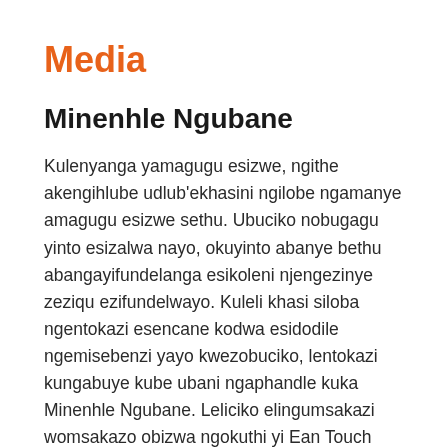Media
Minenhle Ngubane
Kulenyanga yamagugu esizwe, ngithe akengihlube udlub'ekhasini ngilobe ngamanye amagugu esizwe sethu. Ubuciko nobugagu yinto esizalwa nayo, okuyinto abanye bethu abangayifundelanga esikoleni njengezinye zeziqu ezifundelwayo. Kuleli khasi siloba ngentokazi esencane kodwa esidodile ngemisebenzi yayo kwezobuciko, lentokazi kungabuye kube ubani ngaphandle kuka Minenhle Ngubane. Leliciko elingumsakazi womsakazo obizwa ngokuthi yi Ean Touch Radio Station lizalwa eGreytown